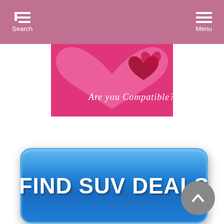Search | Menu
[Figure (illustration): Pink banner with two hearts and text 'Are you Compatible?']
[Figure (infographic): Blue rounded rectangle button with text 'FIND SUV DEALS']
[Figure (other): Grey circular back-to-top arrow button in bottom right corner]